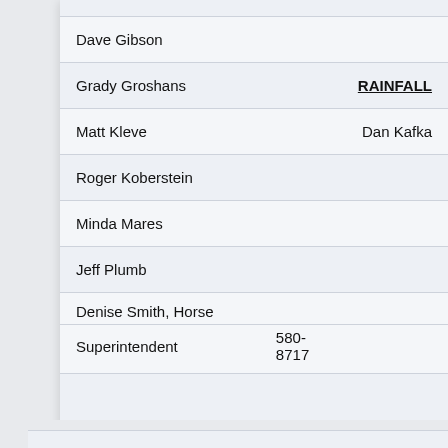| Name | Phone | Other |
| --- | --- | --- |
| Dave Gibson |  |  |
| Grady Groshans |  | RAINFALL |
| Matt Kleve |  | Dan Kafka |
| Roger Koberstein |  |  |
| Minda Mares |  |  |
| Jeff Plumb |  |  |
| Denise Smith, Horse Superintendent | 580-8717 |  |
| Steve Starkebaum |  |  |
| Shauna Strecker |  |  |